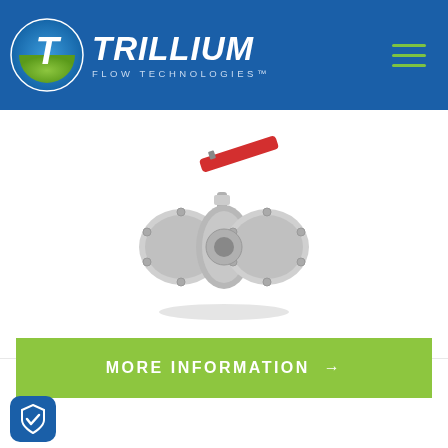Trillium Flow Technologies
[Figure (photo): Stainless steel flanged ball valve with red lever handle, shown in 3/4 perspective view on white background]
MORE INFORMATION →